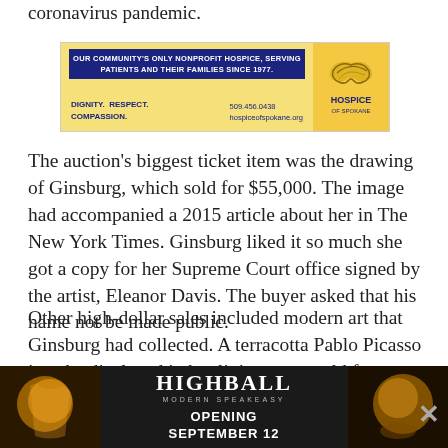coronavirus pandemic.
[Figure (infographic): Hospice of Spokane advertisement: 'Our community's only nonprofit hospice, serving patients and their families since 1977. Dignity. Respect. Compassion. 509.456.0438 hospiceofspokane.org' with logo on yellow background.]
The auction's biggest ticket item was the drawing of Ginsburg, which sold for $55,000. The image had accompanied a 2015 article about her in The New York Times. Ginsburg liked it so much she got a copy for her Supreme Court office signed by the artist, Eleanor Davis. The buyer asked that his name not be made public.
Other high-dollar sales included modern art that Ginsburg had collected. A terracotta Pablo Picasso jug she displayed in her living room sold for $25,000 while an earth… Picasso… that their dining room s…d
[Figure (infographic): Highball Modern Speakeasy advertisement: 'Opening September 12' with cocktail imagery on dark background.]